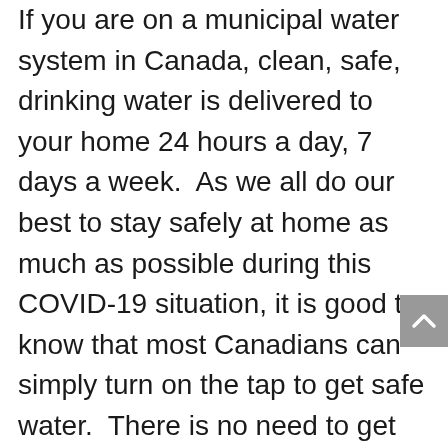If you are on a municipal water system in Canada, clean, safe, drinking water is delivered to your home 24 hours a day, 7 days a week.  As we all do our best to stay safely at home as much as possible during this COVID-19 situation, it is good to know that most Canadians can simply turn on the tap to get safe water.  There is no need to get bottled water for daily use.  While it is good to have some water in your home emergency kit, there is no need to stockpile water in fear of a shutdown.
“We want to ensure Canadians that their tap water is as safe as ever to drink and that the supply of clean water is secure” states Robert